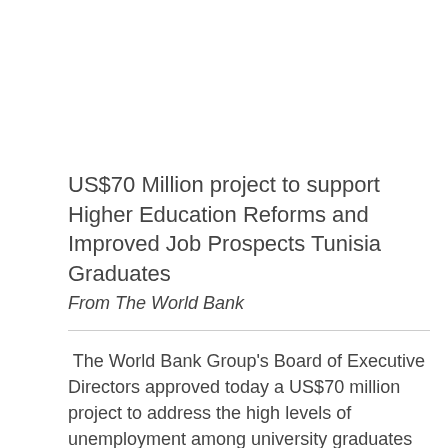US$70 Million project to support Higher Education Reforms and Improved Job Prospects Tunisia Graduates
From The World Bank
The World Bank Group's Board of Executive Directors approved today a US$70 million project to address the high levels of unemployment among university graduates in Tunisia. The project will support ongoing reforms to improve the management of universities and the quality of teaching, and to ensure that students are graduating with the skills demanded by